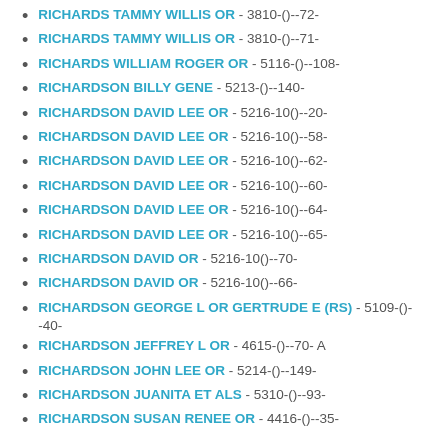RICHARDS TAMMY WILLIS OR - 3810-()--72-
RICHARDS TAMMY WILLIS OR - 3810-()--71-
RICHARDS WILLIAM ROGER OR - 5116-()--108-
RICHARDSON BILLY GENE - 5213-()--140-
RICHARDSON DAVID LEE OR - 5216-10()--20-
RICHARDSON DAVID LEE OR - 5216-10()--58-
RICHARDSON DAVID LEE OR - 5216-10()--62-
RICHARDSON DAVID LEE OR - 5216-10()--60-
RICHARDSON DAVID LEE OR - 5216-10()--64-
RICHARDSON DAVID LEE OR - 5216-10()--65-
RICHARDSON DAVID OR - 5216-10()--70-
RICHARDSON DAVID OR - 5216-10()--66-
RICHARDSON GEORGE L OR GERTRUDE E (RS) - 5109-()--40-
RICHARDSON JEFFREY L OR - 4615-()--70- A
RICHARDSON JOHN LEE OR - 5214-()--149-
RICHARDSON JUANITA ET ALS - 5310-()--93-
RICHARDSON SUSAN RENEE OR - 4416-()--35-